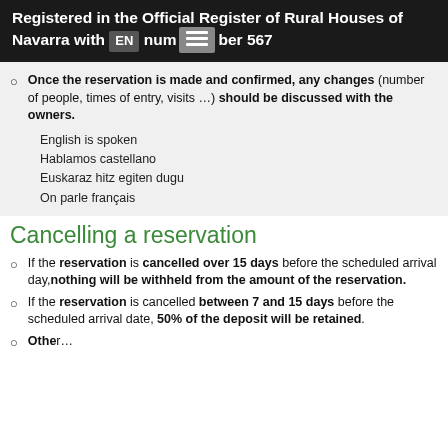Registered in the Official Register of Rural Houses of Navarra with number 567
Once the reservation is made and confirmed, any changes (number of people, times of entry, visits …) should be discussed with the owners.
English is spoken
Hablamos castellano
Euskaraz hitz egiten dugu
On parle français
Cancelling a reservation
If the reservation is cancelled over 15 days before the scheduled arrival day, nothing will be withheld from the amount of the reservation.
If the reservation is cancelled between 7 and 15 days before the scheduled arrival date, 50% of the deposit will be retained.
Other…